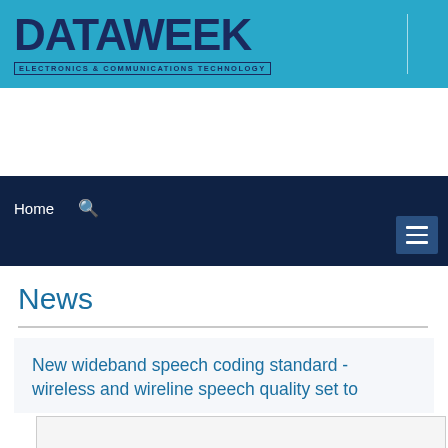DATAWEEK — ELECTRONICS & COMMUNICATIONS TECHNOLOGY
[Figure (logo): DATAWEEK logo with tagline ELECTRONICS & COMMUNICATIONS TECHNOLOGY on teal background]
News
New wideband speech coding standard - wireless and wireline speech quality set to